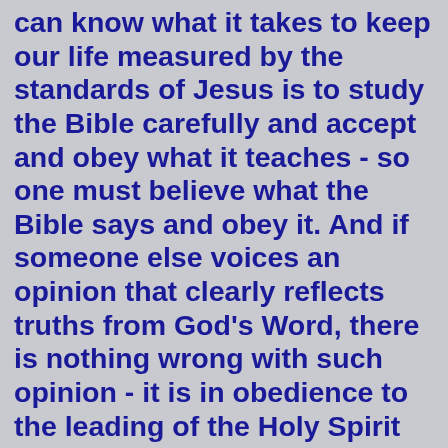can know what it takes to keep our life measured by the standards of Jesus is to study the Bible carefully and accept and obey what it teaches - so one must believe what the Bible says and obey it. And if someone else voices an opinion that clearly reflects truths from God's Word, there is nothing wrong with such opinion - it is in obedience to the leading of the Holy Spirit and should be heeded. When I do such, I am simply exercising my spiritual gift.
Have I said anything that is unscriptural? Not to my knowledge. Please point out where I have been incorrect? If I have offered an opinion that lines up with what God has said in His Word than it is true